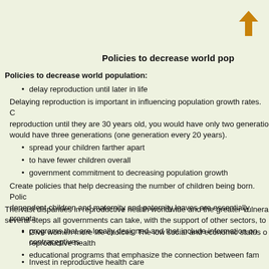[Figure (other): Orange upward arrow icon in top right corner]
Policies to decrease world pop...
Policies to decrease world population:
delay reproduction until later in life
Delaying reproduction is important in influencing population growth rates. C... reproduction until they are 30 years old, you would have only two generatio... would have three generations (one generation every 20 years).
spread your children farther apart
to have fewer children overall
government commitment to decreasing population growth
Create policies that help decreasing the number of children being born. Polic... dependent children and maternity and paternity leaves are essentially pronata...
programs that are locally designed and that include information on... contraceptives
educational programs that emphasize the connection between fam...
The vast disparities in reproductive health worldwide and the greater vulnera... several steps all governments can take, with the support of other sectors, to...
Give women more life choices. The low social and economic status o... reproductive health
Invest in reproductive health care